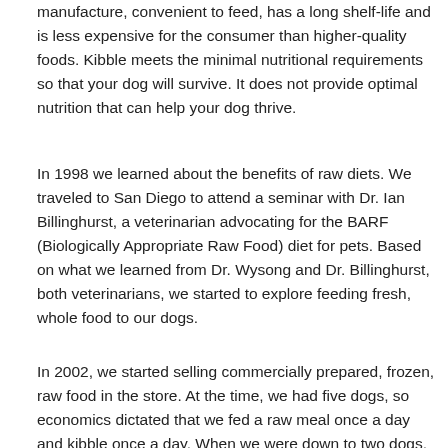manufacture, convenient to feed, has a long shelf-life and is less expensive for the consumer than higher-quality foods. Kibble meets the minimal nutritional requirements so that your dog will survive. It does not provide optimal nutrition that can help your dog thrive.
In 1998 we learned about the benefits of raw diets. We traveled to San Diego to attend a seminar with Dr. Ian Billinghurst, a veterinarian advocating for the BARF (Biologically Appropriate Raw Food) diet for pets. Based on what we learned from Dr. Wysong and Dr. Billinghurst, both veterinarians, we started to explore feeding fresh, whole food to our dogs.
In 2002, we started selling commercially prepared, frozen, raw food in the store. At the time, we had five dogs, so economics dictated that we fed a raw meal once a day and kibble once a day. When we were down to two dogs, we switched to feeding 100% raw. Since then, other options such as freeze-dried, and lightly- cooked diets, have also